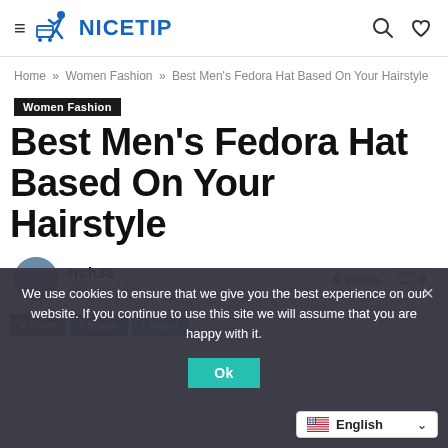NICETIP
Home » Women Fashion » Best Men's Fedora Hat Based On Your Hairstyle
Women Fashion
Best Men's Fedora Hat Based On Your Hairstyle
rrch38
2022-01-14
⚡ 0 Views  0
We use cookies to ensure that we give you the best experience on our website. If you continue to use this site we will assume that you are happy with it.
Ok
English